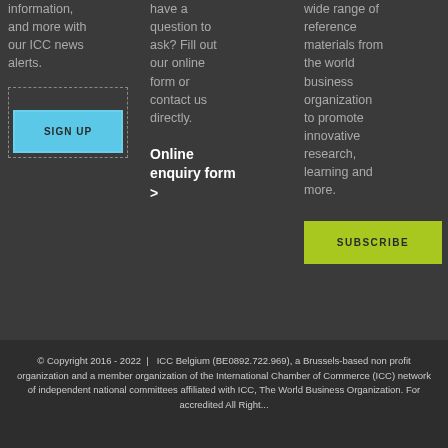information, and more with our ICC news alerts.
SIGN UP
have a question to ask? Fill out our online form or contact us directly.
Online enquiry form >
wide range of reference materials from the world business organization to promote innovative research, learning and more.
SUBSCRIBE
© Copyright 2016 - 2022  |  ICC Belgium (BE0892.722.969), a Brussels-based non profit organization and a member organization of the International Chamber of Commerce (ICC) network of independent national committees affiliated with ICC, The World Business Organization. For accredited All Right...